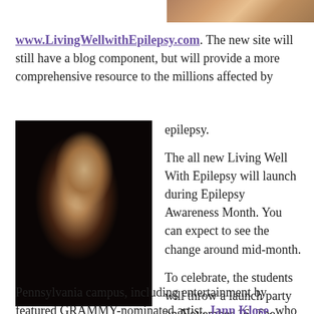[Figure (photo): Partial photo visible at top right corner of page, showing colorful objects]
www.LivingWellwithEpilepsy.com. The new site will still have a blog component, but will provide a more comprehensive resource to the millions affected by epilepsy.

The all new Living Well With Epilepsy will launch during Epilepsy Awareness Month. You can expect to see the change around mid-month.

To celebrate, the students will throw a launch party on November 16. The event will be held on the University of Pennsylvania campus, including entertainment by featured GRAMMY-nominated artist, Jann Klose, who also sings in
[Figure (photo): Black and white photo of a man with dark hair singing into a microphone while playing an acoustic guitar, wearing a dark jacket]